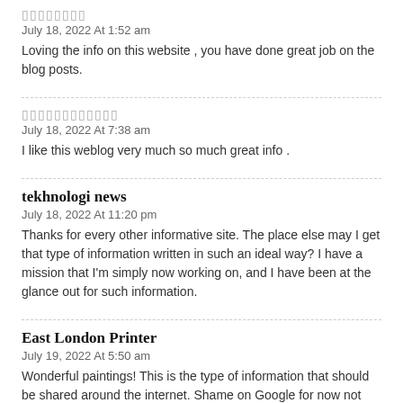▯▯▯▯▯▯▯▯
July 18, 2022 At 1:52 am
Loving the info on this website , you have done great job on the blog posts.
▯▯▯▯▯▯▯▯▯▯▯▯
July 18, 2022 At 7:38 am
I like this weblog very much so much great info .
tekhnologi news
July 18, 2022 At 11:20 pm
Thanks for every other informative site. The place else may I get that type of information written in such an ideal way? I have a mission that I'm simply now working on, and I have been at the glance out for such information.
East London Printer
July 19, 2022 At 5:50 am
Wonderful paintings! This is the type of information that should be shared around the internet. Shame on Google for now not positioning this post upper! Come on over and visit my site . Thanks =)
skyward FBISD